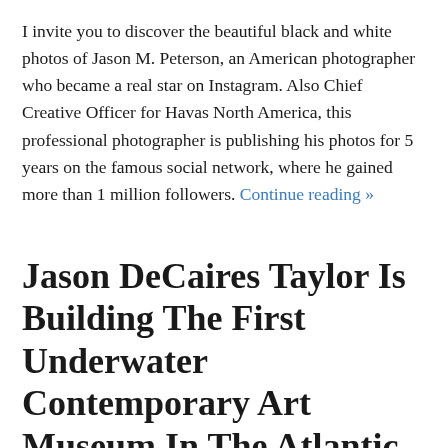I invite you to discover the beautiful black and white photos of Jason M. Peterson, an American photographer who became a real star on Instagram. Also Chief Creative Officer for Havas North America, this professional photographer is publishing his photos for 5 years on the famous social network, where he gained more than 1 million followers. Continue reading »
Jason DeCaires Taylor Is Building The First Underwater Contemporary Art Museum In The Atlantic Ocean